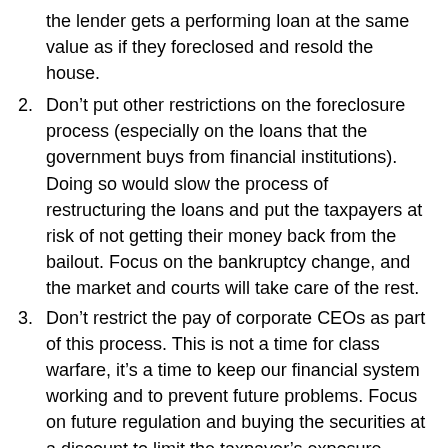the lender gets a performing loan at the same value as if they foreclosed and resold the house.
2. Don’t put other restrictions on the foreclosure process (especially on the loans that the government buys from financial institutions). Doing so would slow the process of restructuring the loans and put the taxpayers at risk of not getting their money back from the bailout. Focus on the bankruptcy change, and the market and courts will take care of the rest.
3. Don’t restrict the pay of corporate CEOs as part of this process. This is not a time for class warfare, it’s a time to keep our financial system working and to prevent future problems. Focus on future regulation and buying the securities at a discount to limit the taxpayer’s exposure.
4. Do regulate the financial industry (appraisers,